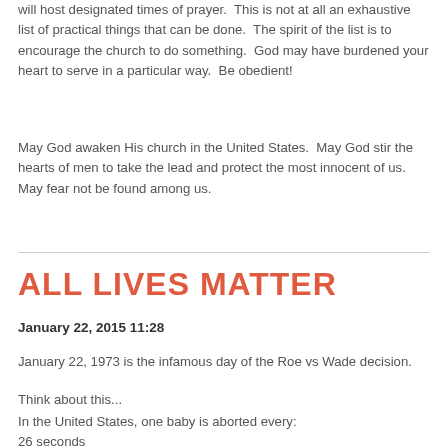will host designated times of prayer.  This is not at all an exhaustive list of practical things that can be done.  The spirit of the list is to encourage the church to do something.  God may have burdened your heart to serve in a particular way.  Be obedient!
May God awaken His church in the United States.  May God stir the hearts of men to take the lead and protect the most innocent of us.  May fear not be found among us.
ALL LIVES MATTER
January 22, 2015 11:28
January 22, 1973 is the infamous day of the Roe vs Wade decision.
Think about this...
In the United States, one baby is aborted every:
26 seconds